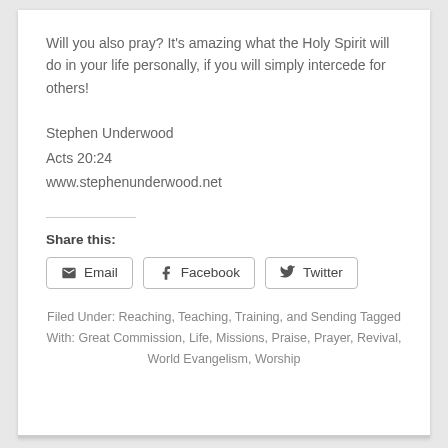Will you also pray? It's amazing what the Holy Spirit will do in your life personally, if you will simply intercede for others!
Stephen Underwood
Acts 20:24
www.stephenunderwood.net
Share this:
Email  Facebook  Twitter
Filed Under: Reaching, Teaching, Training, and Sending Tagged With: Great Commission, Life, Missions, Praise, Prayer, Revival, World Evangelism, Worship